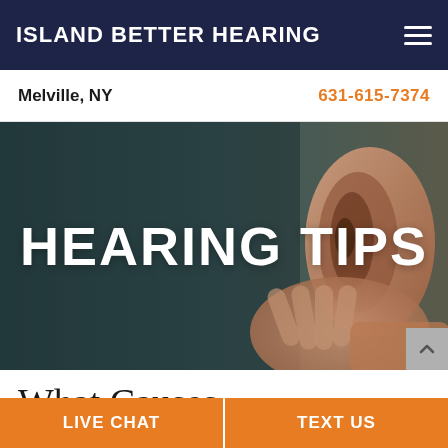ISLAND BETTER HEARING
Melville, NY    631-615-7374
[Figure (photo): Close-up photo of a person cupping their hand behind their ear to hear better, with a dark teal/grey background overlay]
HEARING TIPS
What Causes Dizziness, Vertigo, And Bal...
LIVE CHAT    TEXT US